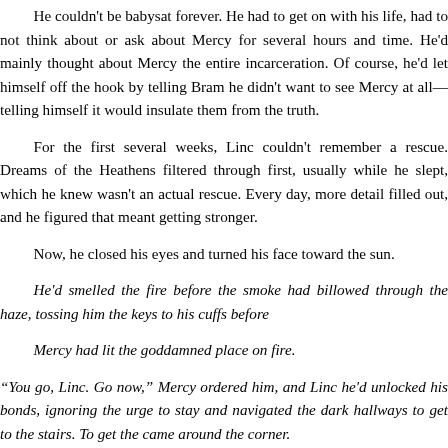He couldn't be babysat forever. He had to get on with his life, had to not think about or ask about Mercy for several hours at a time. He'd mainly thought about Mercy the entire incarceration. Of course, he'd let himself off the hook by telling Bram he didn't want to see Mercy at all—telling himself it would insulate them from the truth.

For the first several weeks, Linc couldn't remember a rescue. Dreams of the Heathens filtered through first, usually while he slept, which he knew wasn't an actual rescue. Every day, more detail filled out, and he figured that meant getting stronger.

Now, he closed his eyes and turned his face toward the sun.

He'd smelled the fire before the smoke had billowed through the haze, tossing him the keys to his cuffs before

Mercy had lit the goddamned place on fire.

"You go, Linc. Go now," Mercy ordered him, and Linc he'd unlocked his bonds, ignoring the urge to stay and navigated the dark hallways to get to the stairs. To get the came around the corner.

Thankfully, the keys hadn't been the only thing Me into Bruno's neck, the way he'd been taught, the way h